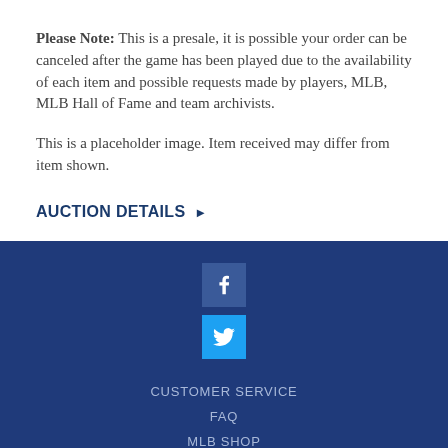Please Note: This is a presale, it is possible your order can be canceled after the game has been played due to the availability of each item and possible requests made by players, MLB, MLB Hall of Fame and team archivists.
This is a placeholder image. Item received may differ from item shown.
AUCTION DETAILS ▶
[Figure (other): Facebook social media icon button (dark blue square with white 'f' logo)]
[Figure (other): Twitter social media icon button (light blue square with white bird logo)]
CUSTOMER SERVICE
FAQ
MLB SHOP
PRIVACY POLICY